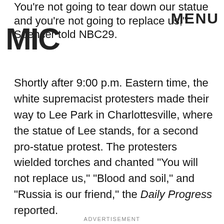MIC | MENU
You're not going to tear down our statue and you're not going to replace us," Spencer told NBC29.
Shortly after 9:00 p.m. Eastern time, the white supremacist protesters made their way to Lee Park in Charlottesville, where the statue of Lee stands, for a second pro-statue protest. The protesters wielded torches and chanted "You will not replace us," "Blood and soil," and "Russia is our friend," the Daily Progress reported.
The second protest reportedly lasted for approximately 10 minutes, after which police arrived on the scene.
ADVERTISEMENT